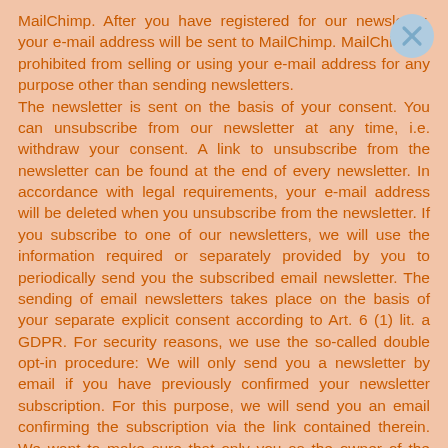MailChimp. After you have registered for our newsletter, your e-mail address will be sent to MailChimp. MailChimp is prohibited from selling or using your e-mail address for any purpose other than sending newsletters. The newsletter is sent on the basis of your consent. You can unsubscribe from our newsletter at any time, i.e. withdraw your consent. A link to unsubscribe from the newsletter can be found at the end of every newsletter. In accordance with legal requirements, your e-mail address will be deleted when you unsubscribe from the newsletter. If you subscribe to one of our newsletters, we will use the information required or separately provided by you to periodically send you the subscribed email newsletter. The sending of email newsletters takes place on the basis of your separate explicit consent according to Art. 6 (1) lit. a GDPR. For security reasons, we use the so-called double opt-in procedure: We will only send you a newsletter by email if you have previously confirmed your newsletter subscription. For this purpose, we will send you an email confirming the subscription via the link contained therein. We want to make sure that only you as the owner of the specified email address can subscribe to the newsletter. The newsletter is sent as part of a processing order on our behalf by a service provider, to which we pass on your email address. You may object to this use of your email address at any time by sending a message to the contact details